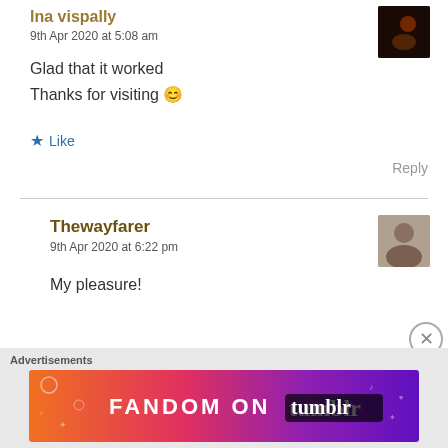9th Apr 2020 at 5:08 am
Glad that it worked
Thanks for visiting 😊
★ Like
Reply
Thewayfarer
9th Apr 2020 at 6:22 pm
My pleasure!
Advertisements
[Figure (illustration): Fandom on Tumblr advertisement banner with colorful orange to purple gradient background and white text]